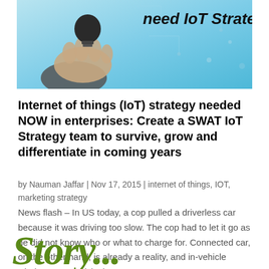[Figure (photo): A hand holding a light bulb against a blue digital network background, with text 'need IoT Strategy?' visible in the upper right]
Internet of things (IoT) strategy needed NOW in enterprises: Create a SWAT IoT Strategy team to survive, grow and differentiate in coming years
by Nauman Jaffar | Nov 17, 2015 | internet of things, IOT, marketing strategy
News flash – In US today, a cop pulled a driverless car because it was driving too slow. The cop had to let it go as he did not know who or what to charge for. Connected car, on the other hand, is already a reality, and in-vehicle wireless connectivity is...
[Figure (illustration): Decorative green stylized 'Story...' text in an ornate font at the bottom of the page]